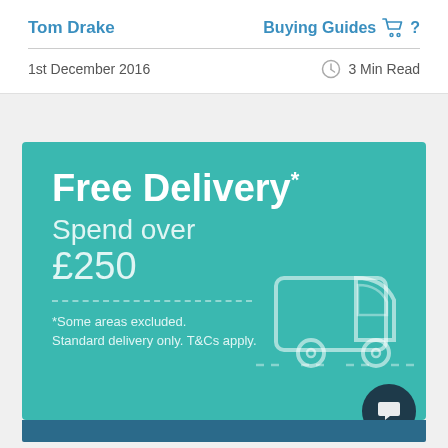Tom Drake | Buying Guides
1st December 2016 | 3 Min Read
[Figure (infographic): Promotional banner with teal background showing 'Free Delivery* Spend over £250' with a delivery truck graphic and footnote '*Some areas excluded. Standard delivery only. T&Cs apply.']